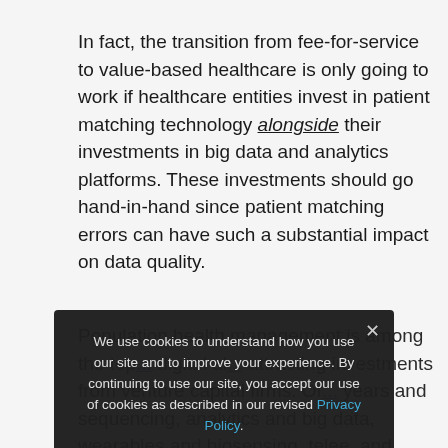In fact, the transition from fee-for-service to value-based healthcare is only going to work if healthcare entities invest in patient matching technology alongside their investments in big data and analytics platforms. These investments should go hand-in-hand since patient matching errors can have such a substantial impact on data quality.
Population health management is among the top... attracting investments from venture capital firms. Of... sequencing, analytics and big data, wearables and biosensing, tele...e, and digital ...
We use cookies to understand how you use our site and to improve your experience. By continuing to use our site, you accept our use of cookies as described in our revised Privacy Policy.